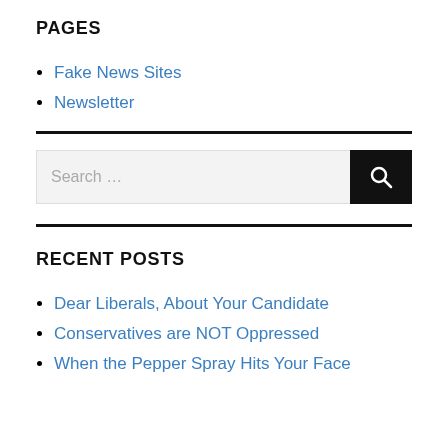PAGES
Fake News Sites
Newsletter
Search ...
RECENT POSTS
Dear Liberals, About Your Candidate
Conservatives are NOT Oppressed
When the Pepper Spray Hits Your Face